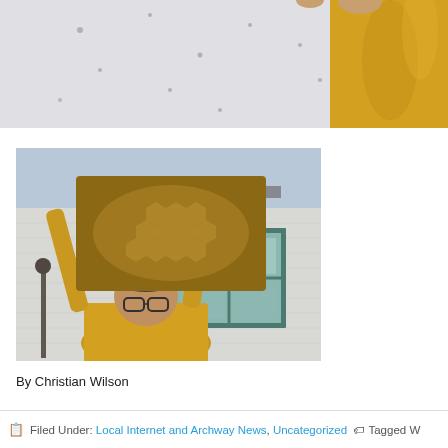[Figure (photo): Close-up photo showing part of a white wall or board with small dots, and a person's yellow-shirted arm/torso visible on the right side, cropped at top of page.]
[Figure (photo): Man in yellow shirt holding up a honeycomb frame covered with bees, standing outside in front of a white brick building with a green-framed window.]
By Christian Wilson
Filed Under: Local Internet and Archway News, Uncategorized   Tagged W